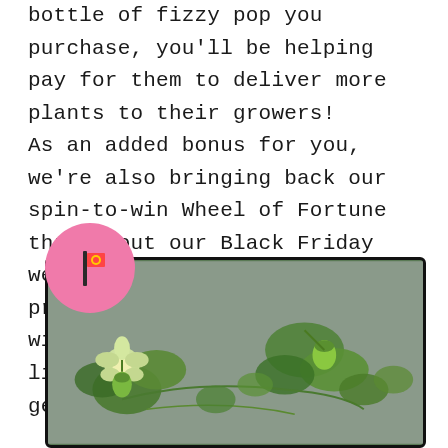bottle of fizzy pop you purchase, you'll be helping pay for them to deliver more plants to their growers!

As an added bonus for you, we're also bringing back our spin-to-win Wheel of Fortune throughout our Black Friday weekend. Take a spin and win prizes and discounts to claim with your order (Give a little; Get a little - geddit?).
[Figure (photo): A photo of strawberry plants with small green unripe strawberries and white flowers, with a pink circle containing a small logo/icon overlaid in the top-left corner of the image frame.]